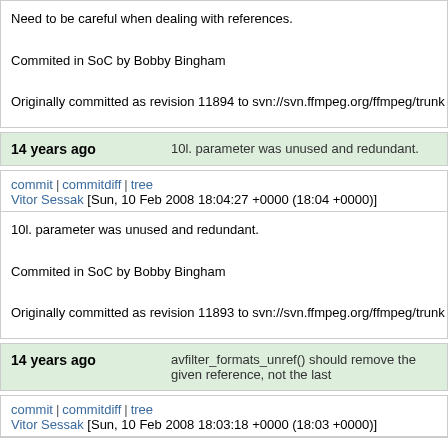Need to be careful when dealing with references.

Commited in SoC by Bobby Bingham

Originally committed as revision 11894 to svn://svn.ffmpeg.org/ffmpeg/trunk
14 years ago   10l. parameter was unused and redundant.
commit | commitdiff | tree
Vitor Sessak [Sun, 10 Feb 2008 18:04:27 +0000 (18:04 +0000)]
10l. parameter was unused and redundant.

Commited in SoC by Bobby Bingham

Originally committed as revision 11893 to svn://svn.ffmpeg.org/ffmpeg/trunk
14 years ago   avfilter_formats_unref() should remove the given reference, not the last
commit | commitdiff | tree
Vitor Sessak [Sun, 10 Feb 2008 18:03:18 +0000 (18:03 +0000)]